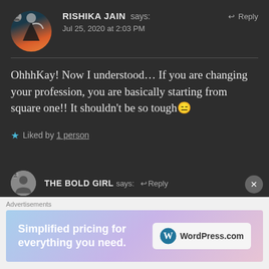RISHIKA JAIN says: ↩ Reply
Jul 25, 2020 at 2:03 PM
OhhhKay! Now I understood… If you are changing your profession, you are basically starting from square one!! It shouldn't be so tough😑
★ Liked by 1 person
THE BOLD GIRL says: ↩ Reply
Advertisements
Simplified pricing for everything you need.
WordPress.com